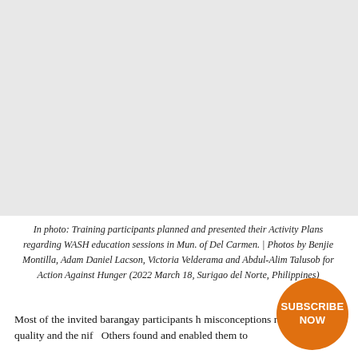[Figure (photo): Photo area showing training participants planning and presenting Activity Plans regarding WASH education sessions in Mun. of Del Carmen (blank/white area in rendered page)]
In photo: Training participants planned and presented their Activity Plans regarding WASH education sessions in Mun. of Del Carmen. | Photos by Benjie Montilla, Adam Daniel Lacson, Victoria Velderama and Abdul-Alim Talusob for Action Against Hunger (2022 March 18, Surigao del Norte, Philippines)
Most of the invited barangay participants h misconceptions regarding water quality and the nif Others found and enabled them to
[Figure (other): Orange circular Subscribe Now button]